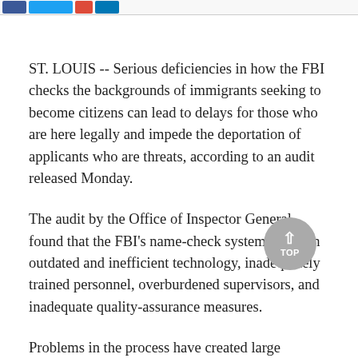[Social share buttons: Facebook, Twitter, Google+, LinkedIn]
ST. LOUIS -- Serious deficiencies in how the FBI checks the backgrounds of immigrants seeking to become citizens can lead to delays for those who are here legally and impede the deportation of applicants who are threats, according to an audit released Monday.
The audit by the Office of Inspector General found that the FBI's name-check system relies on outdated and inefficient technology, inadequately trained personnel, overburdened supervisors, and inadequate quality-assurance measures.
Problems in the process have created large backlogs and raised questions about the reliability of resulting information, the audit found.